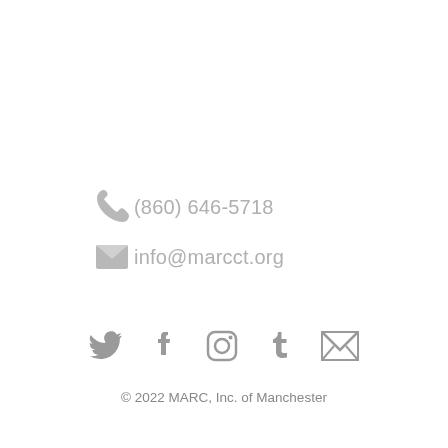(860) 646-5718
info@marcct.org
[Figure (illustration): Social media icons: Twitter bird, Facebook f, Instagram camera, Tumblr t, Gmail M envelope — all in gray]
© 2022 MARC, Inc. of Manchester